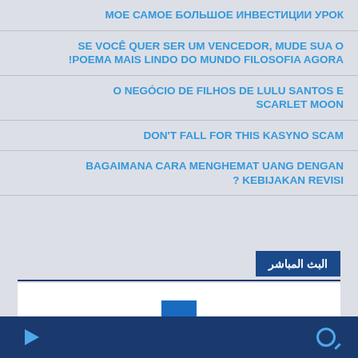МОЕ САМОЕ БОЛЬШОЕ ИНВЕСТИЦИИ УРОК
SE VOCÊ QUER SER UM VENCEDOR, MUDE SUA O !POEMA MAIS LINDO DO MUNDO FILOSOFIA AGORA
O NEGÓCIO DE FILHOS DE LULU SANTOS E SCARLET MOON
DON'T FALL FOR THIS KASYNO SCAM
BAGAIMANA CARA MENGHEMAT UANG DENGAN ? KEBIJAKAN REVISI
البث المباشر
[Figure (screenshot): White video player area with a blue play button rectangle in the center top]
Navigation bar with play icon and search icon